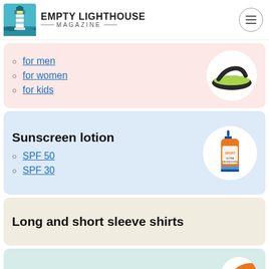EMPTY LIGHTHOUSE MAGAZINE
for men
for women
for kids
Sunscreen lotion
SPF 50
SPF 30
Long and short sleeve shirts
A rain jacket to